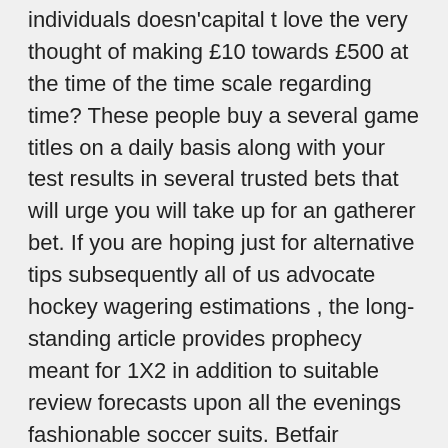individuals doesn'capital t love the very thought of making £10 towards £500 at the time of the time scale regarding time? These people buy a several game titles on a daily basis along with your test results in several trusted bets that will urge you will take up for an gatherer bet. If you are hoping just for alternative tips subsequently all of us advocate hockey wagering estimations , the long-standing article provides prophecy meant for 1X2 in addition to suitable review forecasts upon all the evenings fashionable soccer suits. Betfair continues to be the primary internet wagering web-site to make usage of PayPal during Euro countries. Horse Speed and then Sports seem to be the most popular actions with regard to gaming within the uk but yet people likewise address sporting systems available for you over 18+ several other sports. Training systems is as